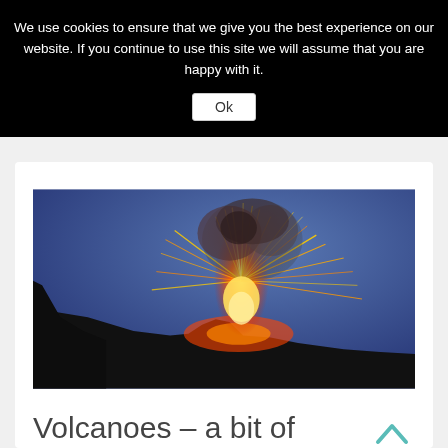We use cookies to ensure that we give you the best experience on our website. If you continue to use this site we will assume that you are happy with it.
Ok
[Figure (photo): A volcano erupting at night or dusk, with bright orange and red lava sparks shooting upward against a blue-purple sky. Dark rocky silhouette visible on the left.]
Volcanoes – a bit of